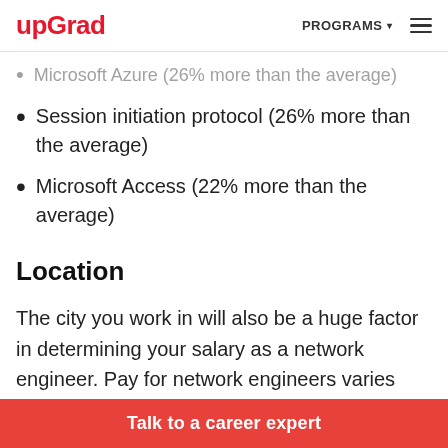upGrad | PROGRAMS ☰
Microsoft Azure (26% more than the average)
Session initiation protocol (26% more than the average)
Microsoft Access (22% more than the average)
Location
The city you work in will also be a huge factor in determining your salary as a network engineer. Pay for network engineers varies slightly from city to city. That's because the cost of living is
Talk to a career expert